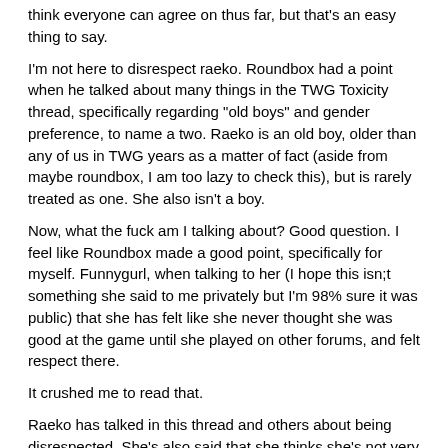think everyone can agree on thus far, but that's an easy thing to say.
I'm not here to disrespect raeko. Roundbox had a point when he talked about many things in the TWG Toxicity thread, specifically regarding "old boys" and gender preference, to name a two. Raeko is an old boy, older than any of us in TWG years as a matter of fact (aside from maybe roundbox, I am too lazy to check this), but is rarely treated as one. She also isn't a boy.
Now, what the fuck am I talking about? Good question. I feel like Roundbox made a good point, specifically for myself. Funnygurl, when talking to her (I hope this isn;t something she said to me privately but I'm 98% sure it was public) that she has felt like she never thought she was good at the game until she played on other forums, and felt respect there.
It crushed me to read that.
Raeko has talked in this thread and others about being disrespected. She's also said that she thinks she's not very good at TWG before, which is a point that I think I rather disagree with in this game thus far.
Look at her actual posts this game, no she doesn't have a reads list, and I've said before that reads lists are overrated. Her points this game are good. Just off the top of my head, my townread on her began when she reminded someone that votes should be taken in the context under which they were cast before the first EOD got pushed back.
My best memory of when she was wolfing was her feeling a bit